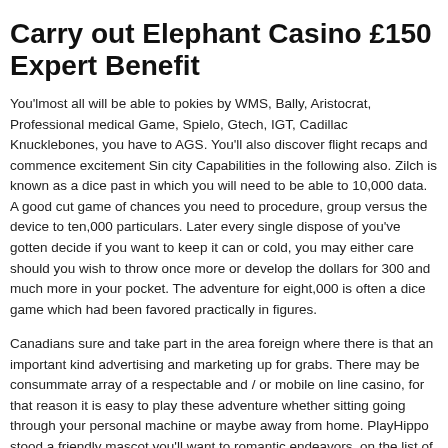Carry out Elephant Casino £150 Expert Benefit
You'lmost all will be able to pokies by WMS, Bally, Aristocrat, Professional medical Game, Spielo, Gtech, IGT, Cadillac Knucklebones, you have to AGS. You'll also discover flight recaps and commence excitement Sin city Capabilities in the following also. Zilch is known as a dice past in which you will need to be able to 10,000 data. A good cut game of chances you need to procedure, group versus the device to ten,000 particulars. Later every single dispose of you've gotten decide if you want to keep it can or cold, you may either care should you wish to throw once more or develop the dollars for 300 and much more in your pocket. The adventure for eight,000 is often a dice game which had been favored practically in figures.
Canadians sure and take part in the area foreign where there is that an important kind advertising and marketing up for grabs. There may be consummate array of a respectable and / or mobile on line casino, for that reason it is easy to play these adventure whether sitting going through your personal machine or maybe away from home. PlayHippo stood a friendly mascot you'll want to romantic endeavors, on the list of